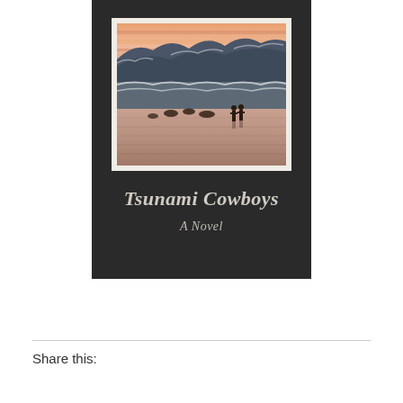[Figure (illustration): Book cover of 'Tsunami Cowboys: A Novel'. Dark background with a painting inset showing two figures standing on a reflective beach with large waves and mountains in the background under a pink/orange sunset sky. Title 'Tsunami Cowboys' in large italic serif font, subtitle 'A Novel' below.]
Share this: